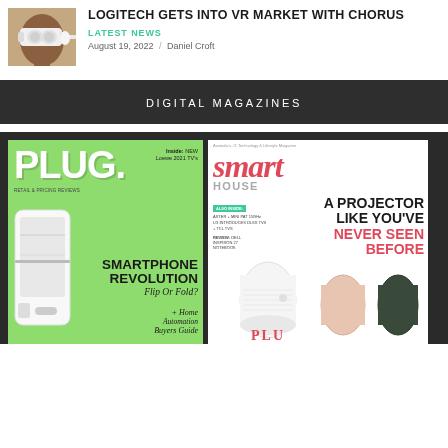[Figure (photo): Person wearing VR headset viewed from the side against white background]
LOGITECH GETS INTO VR MARKET WITH CHORUS
LATEST NEWS
August 19, 2022 / Daniel Croft
DIGITAL MAGAZINES
[Figure (photo): Two digital magazine covers side by side: PLUG magazine with green background featuring SMARTPHONE REVOLUTION Flip Or Fold? and Smart House magazine featuring A PROJECTOR LIKE YOU'VE NEVER SEEN BEFORE]